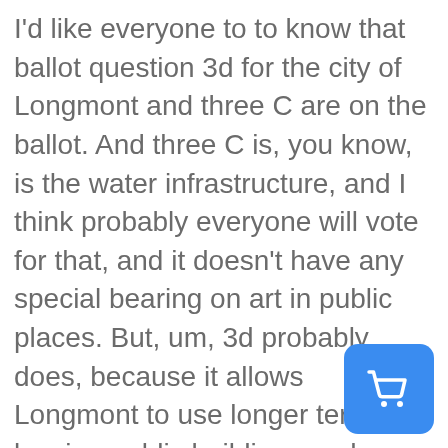I'd like everyone to to know that ballot question 3d for the city of Longmont and three C are on the ballot. And three C is, you know, is the water infrastructure, and I think probably everyone will vote for that, and it doesn't have any special bearing on art in public places. But, um, 3d probably does, because it allows Longmont to use longer terms for leasing public buildings and public land for any purpose that matters to the city. And one of the one purpose that matters to the city is creative amenities. So all for example, you know, if the firehouse Art Center wanted to model itself, with the little short leases that it has, it couldn't can't do that, because it couldn't loan to do it. If it wanted to make the upstairs usable for classrooms and galleries and stuff, instead of being a maze of twisty twisty little passages, which is what it is now. Then the city put together a longer lease. And so everybody should know that that is something that could
[Figure (other): Blue rounded square button with a white shopping cart icon]